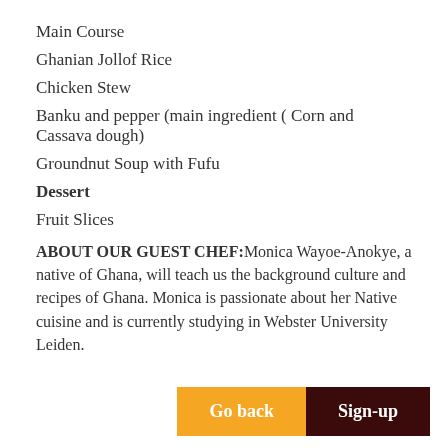Main Course
Ghanian Jollof Rice
Chicken Stew
Banku and pepper (main ingredient ( Corn and Cassava dough)
Groundnut Soup with Fufu
Dessert
Fruit Slices
ABOUT OUR GUEST CHEF:Monica Wayoe-Anokye, a native of Ghana, will teach us the background culture and recipes of Ghana. Monica is passionate about her Native cuisine and is currently studying in Webster University Leiden.